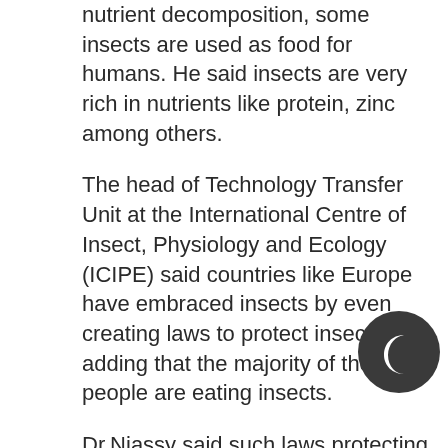nutrient decomposition, some insects are used as food for humans. He said insects are very rich in nutrients like protein, zinc among others.
The head of Technology Transfer Unit at the International Centre of Insect, Physiology and Ecology (ICIPE) said countries like Europe have embraced insects by even creating laws to protect insects, adding that the majority of the people are eating insects.
Dr.Niassy said such laws protecting insects which have been developed in some countries are also very necessary in Kenya adding that the people in Kenya should value the insects.
In Africa, there are over 500 edible insects and globally over 1900 insects' species are eaten.
Among the edible insects in Africa include locust, termite, spiders, beetles, mantids...